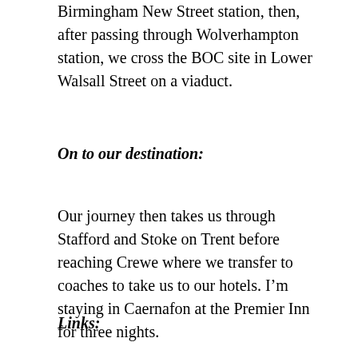Birmingham New Street station, then, after passing through Wolverhampton station, we cross the BOC site in Lower Walsall Street on a viaduct.
On to our destination:
Our journey then takes us through Stafford and Stoke on Trent before reaching Crewe where we transfer to coaches to take us to our hotels. I'm staying in Caernafon at the Premier Inn for three nights.
Links: